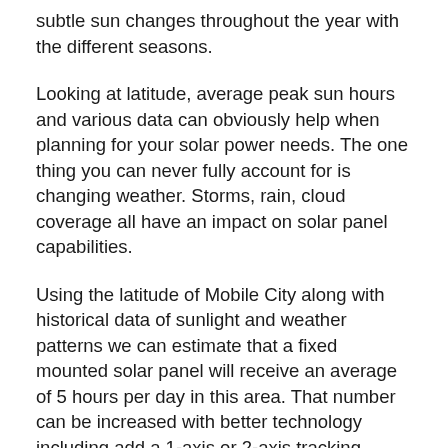subtle sun changes throughout the year with the different seasons.
Looking at latitude, average peak sun hours and various data can obviously help when planning for your solar power needs. The one thing you can never fully account for is changing weather. Storms, rain, cloud coverage all have an impact on solar panel capabilities.
Using the latitude of Mobile City along with historical data of sunlight and weather patterns we can estimate that a fixed mounted solar panel will receive an average of 5 hours per day in this area. That number can be increased with better technology including add a 1-axis or 2-axis tracking